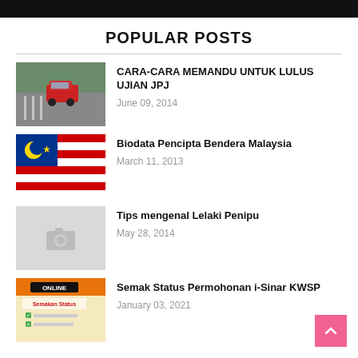POPULAR POSTS
CARA-CARA MEMANDU UNTUK LULUS UJIAN JPJ | June 09, 2014
Biodata Pencipta Bendera Malaysia | March 11, 2013
Tips mengenal Lelaki Penipu | May 28, 2014
Semak Status Permohonan i-Sinar KWSP | January 03, 2021